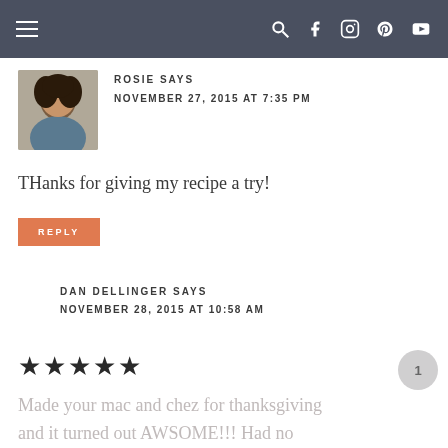Navigation bar with hamburger menu and social icons (search, facebook, instagram, pinterest, youtube)
ROSIE SAYS
NOVEMBER 27, 2015 AT 7:35 PM
THanks for giving my recipe a try!
REPLY
DAN DELLINGER SAYS
NOVEMBER 28, 2015 AT 10:58 AM
★★★★★
Made your mac and chez for thanksgiving and it turned out AWSOME!!! Had no